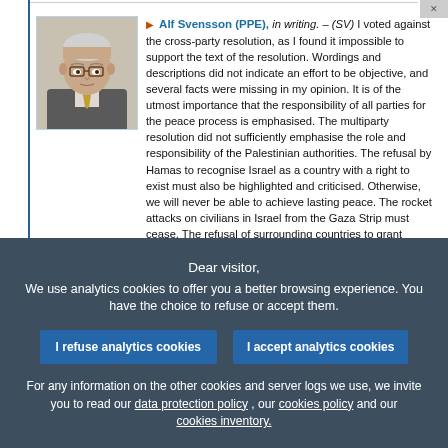Alf Svensson (PPE), in writing. – (SV) I voted against the cross-party resolution, as I found it impossible to support the text of the resolution. Wordings and descriptions did not indicate an effort to be objective, and several facts were missing in my opinion. It is of the utmost importance that the responsibility of all parties for the peace process is emphasised. The multiparty resolution did not sufficiently emphasise the role and responsibility of the Palestinian authorities. The refusal by Hamas to recognise Israel as a country with a right to exist must also be highlighted and criticised. Otherwise, we will never be able to achieve lasting peace. The rocket attacks on civilians in Israel from the Gaza Strip must cease. The refusal of surrounding countries to grant Palestinian refugees citizenship and to stand up for human rights is also an obstacle to peace. The refugee
Dear visitor,
We use analytics cookies to offer you a better browsing experience. You have the choice to refuse or accept them.
I refuse analytics cookies
I accept analytics cookies
For any information on the other cookies and server logs we use, we invite you to read our data protection policy , our cookies policy and our cookies inventory.